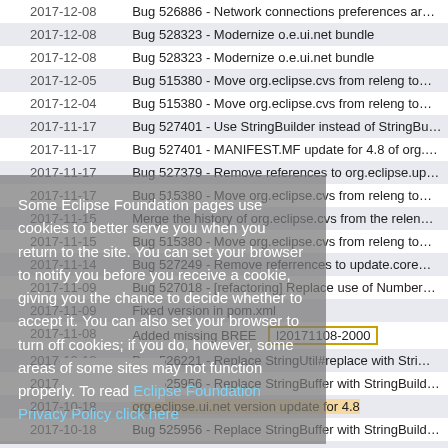| Date | Message |
| --- | --- |
| 2017-12-08 | Bug 526886 - Network connections preferences ar… |
| 2017-12-08 | Bug 528323 - Modernize o.e.ui.net bundle |
| 2017-12-08 | Bug 528323 - Modernize o.e.ui.net bundle |
| 2017-12-05 | Bug 515380 - Move org.eclipse.cvs from releng to… |
| 2017-12-04 | Bug 515380 - Move org.eclipse.cvs from releng to… |
| 2017-11-17 | Bug 527401 - Use StringBuilder instead of StringBu… |
| 2017-11-17 | Bug 527401 - MANIFEST.MF update for 4.8 of org.… |
| 2017-11-17 | Bug 527379 - Remove references to org.eclipse.up… |
| 2017-11-17 | Bug 515380 - Move org.eclipse.cvs from releng to… |
| 2017-11-15 | Merge the history of org.eclipse.cvs from the relen… |
| 2017-11-15 | Bug 515380 - Move org.eclipse.cvs from releng to… |
| 2017-11-14 | Bug 527249 - Remove referrences to update.core… |
| 2017-11-09 | Bug 527018 - [refactoring] Replace use of Number… |
| 2017-11-09 | Fixed version in pom.xml |
| 2017-11-08 | Added missing BREE   I20171108-2000 |
| 2017-10-18 | Bug 526221 - Replace StringUtil#replace with Stri… |
| 2017-10-18 | Bug 525956 - Replace StringBuffer with StringBuild… |
| 2017-10-18 | org.eclipse.ui.net version update for 4.8 |
| 2017-10-18 | Bug 525956 - Replace StringBuffer with StringBuild… |
| 2017-10-18 | Necessary version increase in org.eclipse.core.net… |
| 2017-10-12 | Bug 525955 - Replace StringBuffer with StringBu… |
Some Eclipse Foundation pages use cookies to better serve you when you return to the site. You can set your browser to notify you before you receive a cookie, giving you the chance to decide whether to accept it. You can also set your browser to turn off cookies; if you do, however, some areas of some sites may not function properly. To read Eclipse Foundation Privacy Policy click here